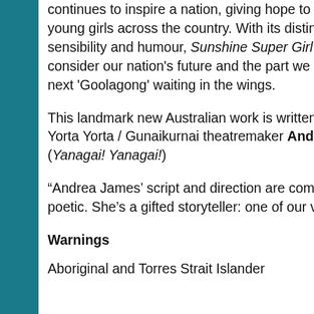continues to inspire a nation, giving hope to thousands of young girls across the country. With its distinctively Australian sensibility and humour, Sunshine Super Girl asks us to consider our nation's future and the part we can play for the next 'Goolagong' waiting in the wings.
This landmark new Australian work is written and directed by Yorta Yorta / Gunaikurnai theatremaker Andrea James (Yanagai! Yanagai!)
“Andrea James’ script and direction are commanding and poetic. She’s a gifted storyteller: one of our very best.”
Warnings
Aboriginal and Torres Strait Islander